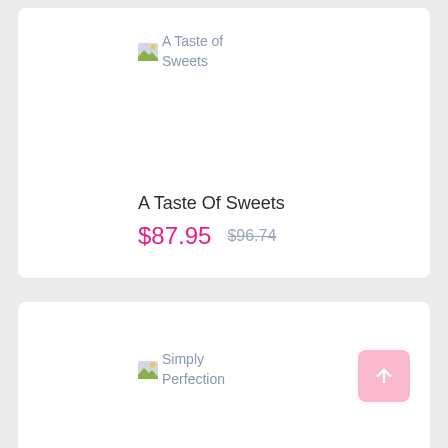[Figure (other): Broken image placeholder for 'A Taste of Sweets' product image]
A Taste Of Sweets
$87.95  $96.74
[Figure (other): Broken image placeholder for 'Simply Perfection' product image]